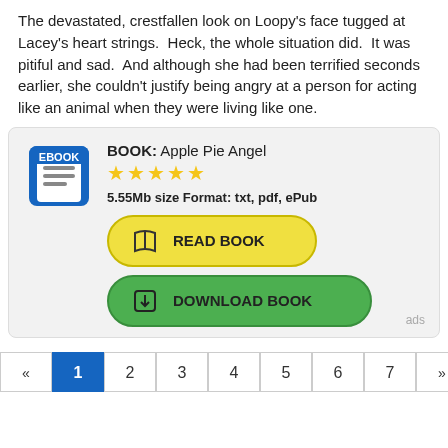The devastated, crestfallen look on Loopy's face tugged at Lacey's heart strings.  Heck, the whole situation did.  It was pitiful and sad.  And although she had been terrified seconds earlier, she couldn't justify being angry at a person for acting like an animal when they were living like one.
[Figure (infographic): Ebook advertisement box with ebook icon, book title 'Apple Pie Angel', 5 stars, file info '5.55Mb size Format: txt, pdf, ePub', yellow READ BOOK button, green DOWNLOAD BOOK button, and 'ads' label.]
« 1 2 3 4 5 6 7 »